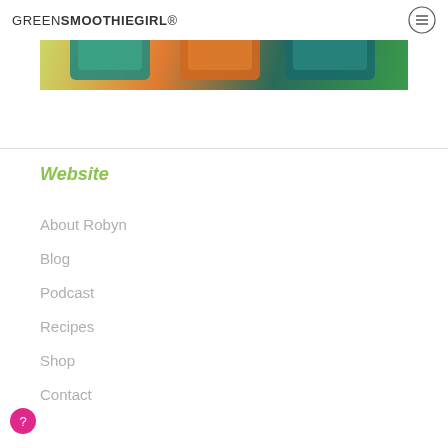GREENSMOOTHIEGIRL®
[Figure (photo): Product photo showing green smoothie product packages on a light green background with a person's arm visible.]
Website
About Robyn
Blog
Podcast
Recipes
Shop
Contact